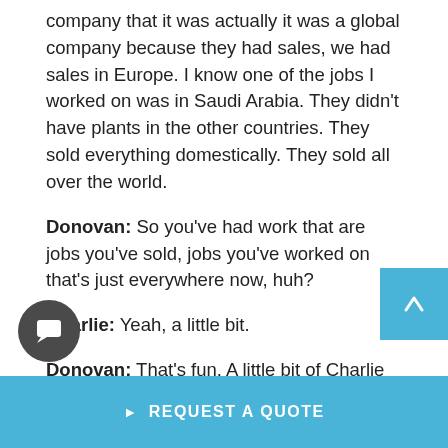company that it was actually it was a global company because they had sales, we had sales in Europe. I know one of the jobs I worked on was in Saudi Arabia. They didn't have plants in the other countries. They sold everything domestically. They sold all over the world.
Donovan: So you've had work that are jobs you've sold, jobs you've worked on that's just everywhere now, huh?
Charlie: Yeah, a little bit.
Donovan: That's fun. A little bit of Charlie all over the world.
▶ REQUEST A QUOTE